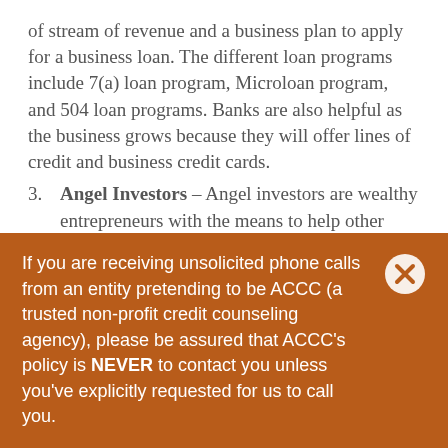of stream of revenue and a business plan to apply for a business loan. The different loan programs include 7(a) loan program, Microloan program, and 504 loan programs. Banks are also helpful as the business grows because they will offer lines of credit and business credit cards.
3. Angel Investors – Angel investors are wealthy entrepreneurs with the means to help other entrepreneurs with their startups and can serve as mentors. Some may take out a stock or a loan to invest. Others are considered return on investment angel investors and will expect pay back for the
If you are receiving unsolicited phone calls from an entity pretending to be ACCC (a trusted non-profit credit counseling agency), please be assured that ACCC's policy is NEVER to contact you unless you've explicitly requested for us to call you.